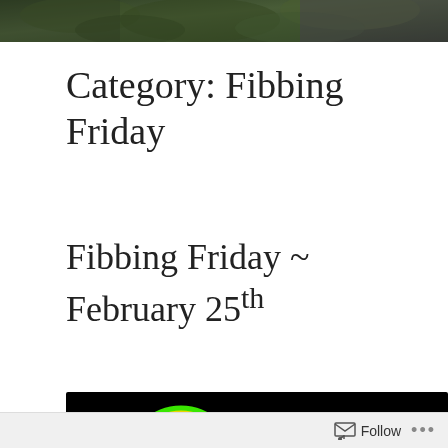[Figure (photo): Dark green leafy background image banner at the top of the page]
Category: Fibbing Friday
Fibbing Friday ~ February 25th
[Figure (photo): Black background image with a yellow smiley face with flat/squinting eyes on the left, and green neon glowing text reading 'Fibbing' on the right]
Follow ...